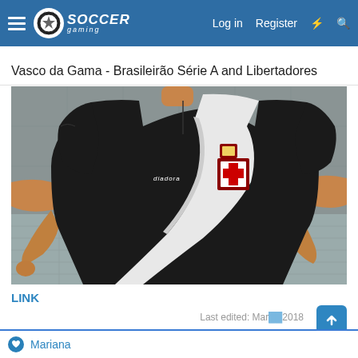Soccer Gaming — Log in  Register
Vasco da Gama - Brasileirão Série A and Libertadores
[Figure (photo): 3D render of a player model wearing a black Vasco da Gama soccer jersey with a diagonal white sash and a red cross crest, posed in T-pose against a grey studio background.]
LINK
Last edited: Mar [date] 2018
Mariana